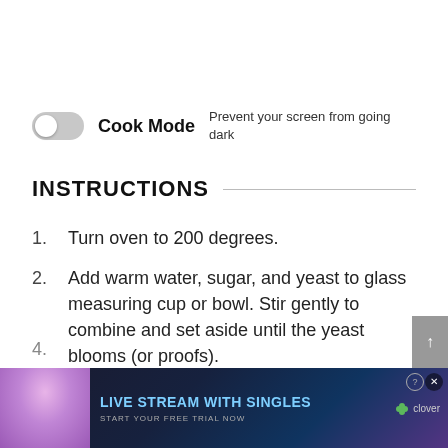Cook Mode  Prevent your screen from going dark
INSTRUCTIONS
1. Turn oven to 200 degrees.
2. Add warm water, sugar, and yeast to glass measuring cup or bowl. Stir gently to combine and set aside until the yeast blooms (or proofs).
3. Add 2 cups flour and salt to stand mixer with a dough hook or large bowl to mix by hand
[Figure (screenshot): Advertisement banner: LIVE STREAM WITH SINGLES — START YOUR FREE TRIAL NOW — clover logo]